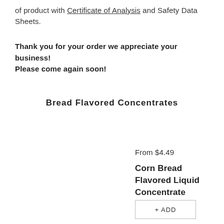of product with Certificate of Analysis and Safety Data Sheets.
Thank you for your order we appreciate your business! Please come again soon!
Bread Flavored Concentrates
From $4.49
Corn Bread Flavored Liquid Concentrate
+ ADD